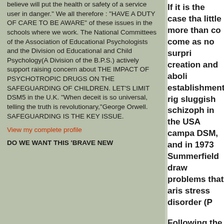believe will put the health or safety of a service user in danger." We all therefore : "HAVE A DUTY OF CARE TO BE AWARE" of these issues in the schools where we work. The National Committees of the Association of Educational Psychologists and the Division od Educational and Child Psychology(A Division of the B.P.S.) actively support raising concern about THE IMPACT OF PSYCHOTROPIC DRUGS ON THE SAFEGUARDING OF CHILDREN. LET'S LIMIT DSM5 in the U.K. "When deceit is so universal, telling the truth is revolutionary,"George Orwell. SAFEGUARDING IS THE KEY ISSUE.
View my complete profile
DO WE WANT THIS 'BRAVE NEW
If it is the case tha little more than co come as no surpri creation and aboli establishments rig sluggish schizoph in the USA campa DSM, and in 1973 Summerfield draw problems that aris stress disorder (P
Following the Viet provide help and s conceptions of ba nature of war. In d perpetrators of wa